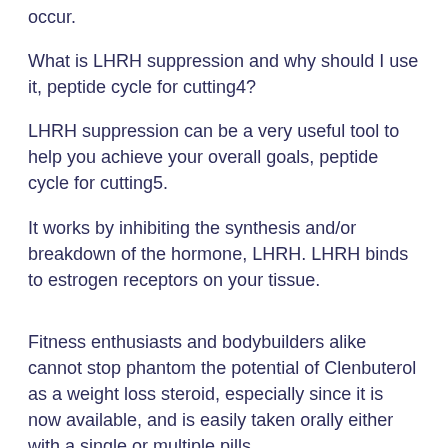occur.
What is LHRH suppression and why should I use it, peptide cycle for cutting4?
LHRH suppression can be a very useful tool to help you achieve your overall goals, peptide cycle for cutting5.
It works by inhibiting the synthesis and/or breakdown of the hormone, LHRH. LHRH binds to estrogen receptors on your tissue.
Fitness enthusiasts and bodybuilders alike cannot stop phantom the potential of Clenbuterol as a weight loss steroid, especially since it is now available, and is easily taken orally either with a single or multiple pills.